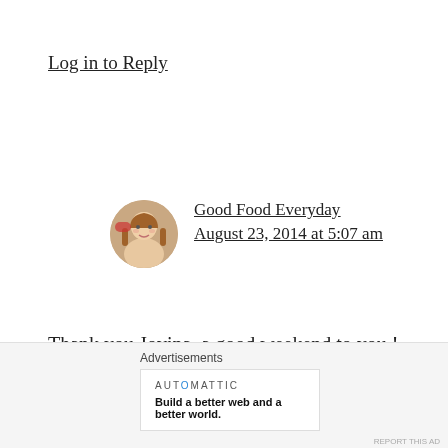Log in to Reply
Good Food Everyday
August 23, 2014 at 5:07 am
Thank you Jovina, a good weekend to you !
Loading...
Log in to Reply
Advertisements
[Figure (logo): Automattic logo and tagline: Build a better web and a better world.]